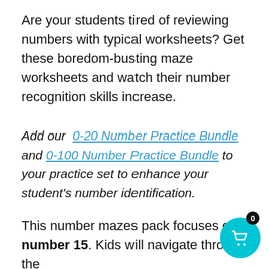Are your students tired of reviewing numbers with typical worksheets? Get these boredom-busting maze worksheets and watch their number recognition skills increase.
Add our 0-20 Number Practice Bundle and 0-100 Number Practice Bundle to your practice set to enhance your student's number identification.
This number mazes pack focuses on number 15. Kids will navigate through the